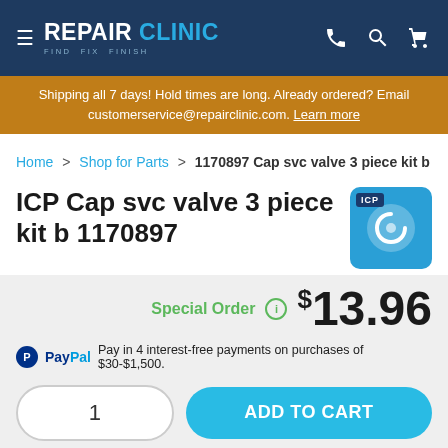REPAIR CLINIC — FIND FIX FINISH
Shipping all 7 days! Hold times are long. Already ordered? Email customerservice@repairclinic.com. Learn more
Home > Shop for Parts > 1170897 Cap svc valve 3 piece kit b
ICP Cap svc valve 3 piece kit b 1170897
Special Order  $13.96
PayPal Pay in 4 interest-free payments on purchases of $30-$1,500.
1  ADD TO CART